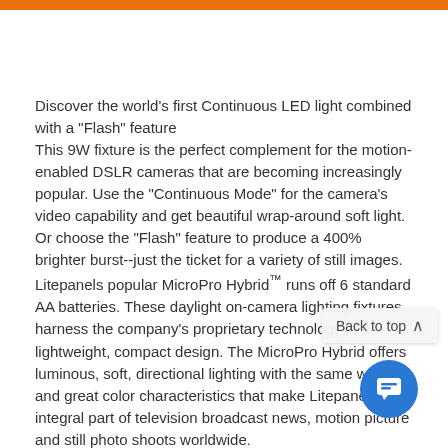Discover the world's first Continuous LED light combined with a "Flash" feature
This 9W fixture is the perfect complement for the motion-enabled DSLR cameras that are becoming increasingly popular. Use the "Continuous Mode" for the camera's video capability and get beautiful wrap-around soft light. Or choose the "Flash" feature to produce a 400% brighter burst--just the ticket for a variety of still images. Litepanels popular MicroPro Hybrid™ runs off 6 standard AA batteries. These daylight on-camera lighting fixtures harness the company's proprietary technology in a lightweight, compact design. The MicroPro Hybrid offers luminous, soft, directional lighting with the same warmth and great color characteristics that make Litepanels an integral part of television broadcast news, motion picture and still photo shoots worldwide.